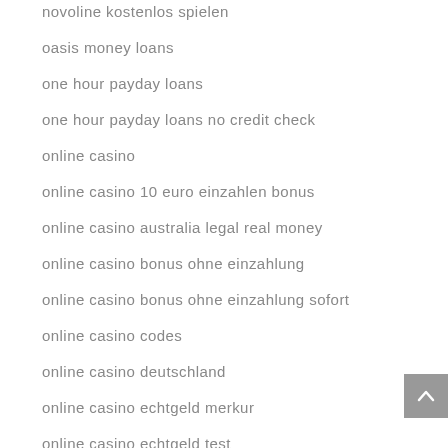novoline kostenlos spielen
oasis money loans
one hour payday loans
one hour payday loans no credit check
online casino
online casino 10 euro einzahlen bonus
online casino australia legal real money
online casino bonus ohne einzahlung
online casino bonus ohne einzahlung sofort
online casino codes
online casino deutschland
online casino echtgeld merkur
online casino echtgeld test
online casino free spins
online casino freispiele